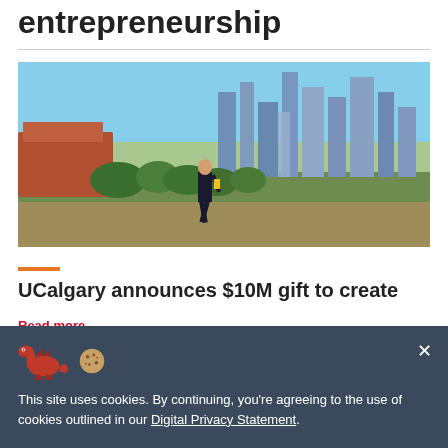entrepreneurship
[Figure (photo): A man in a suit walking outdoors with the Calgary city skyline in the background, including tall buildings and an arena on the left.]
UCalgary announces $10M gift to create
Read more
This site uses cookies. By continuing, you're agreeing to the use of cookies outlined in our Digital Privacy Statement.